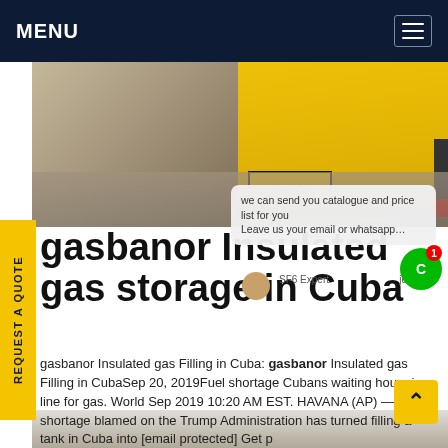MENU
[Figure (photo): A yellow truck/trailer with license plate V267B parked at an industrial or port facility, viewed from ground level with concrete ground and structures in background.]
we can send you catalogue and price list for you
Leave us your email or whatsapp…
SF6 Expert   just now
gasbanor Insulated gas storage in Cuba
gasbanor Insulated gas Filling in Cuba: gasbanor Insulated gas Filling in CubaSep 20, 2019Fuel shortage Cubans waiting hours in line for gas. World Sep 2019 10:20 AM EST. HAVANA (AP) — A fuel shortage blamed on the Trump Administration has turned filling a tank in Cuba into [email protected] Get p
[Figure (photo): Bottom portion of an outdoor industrial scene, partially visible.]